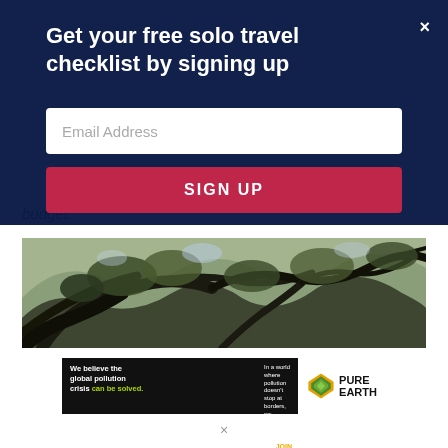Get your free solo travel checklist by signing up
Email Address
SIGN UP
budget.
[Figure (photo): Looking up through gnarled tree branches with dark twisted limbs against a bright sky, dense green foliage visible]
[Figure (infographic): Pure Earth advertisement banner: 'We believe the global pollution crisis can be solved. In a world where pollution doesn't stop at borders, we can all be part of the solution. JOIN US.' with Pure Earth logo on right.]
×